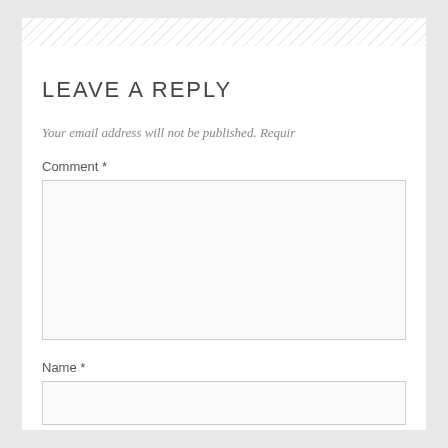LEAVE A REPLY
Your email address will not be published. Requir
Comment *
Name *
Email *